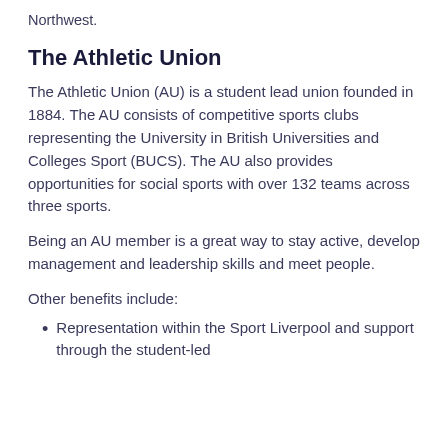Northwest.
The Athletic Union
The Athletic Union (AU) is a student lead union founded in 1884. The AU consists of competitive sports clubs representing the University in British Universities and Colleges Sport (BUCS). The AU also provides opportunities for social sports with over 132 teams across three sports.
Being an AU member is a great way to stay active, develop management and leadership skills and meet people.
Other benefits include:
Representation within the Sport Liverpool and support through the student-led...